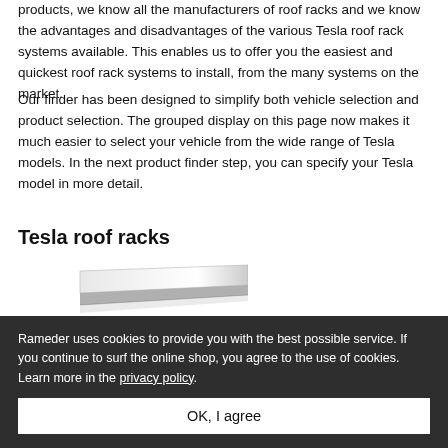products, we know all the manufacturers of roof racks and we know the advantages and disadvantages of the various Tesla roof rack systems available. This enables us to offer you the easiest and quickest roof rack systems to install, from the many systems on the market.
Our finder has been designed to simplify both vehicle selection and product selection. The grouped display on this page now makes it much easier to select your vehicle from the wide range of Tesla models. In the next product finder step, you can specify your Tesla model in more detail.
Tesla roof racks
[Figure (photo): Partial view of a Tesla roof rack product — angled silver/grey rail against white background]
Rameder uses cookies to provide you with the best possible service. If you continue to surf the online shop, you agree to the use of cookies. Learn more in the privacy policy.
OK, I agree